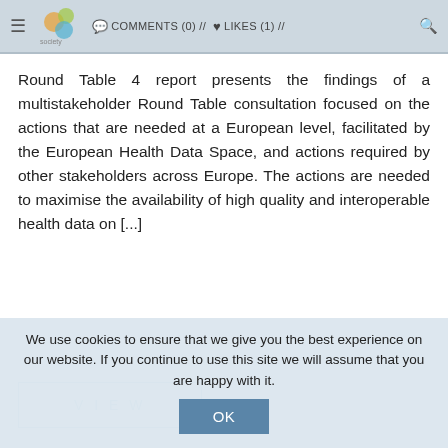COMMENTS (0) // LIKES (1) //
Round Table 4 report presents the findings of a multistakeholder Round Table consultation focused on the actions that are needed at a European level, facilitated by the European Health Data Space, and actions required by other stakeholders across Europe. The actions are needed to maximise the availability of high quality and interoperable health data on [...]
VIEW
We use cookies to ensure that we give you the best experience on our website. If you continue to use this site we will assume that you are happy with it.